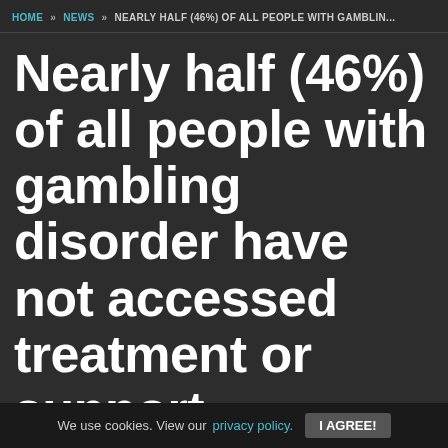HOME » NEWS » NEARLY HALF (46%) OF ALL PEOPLE WITH GAMBLIN...
Nearly half (46%) of all people with gambling disorder have not accessed treatment or support according to in-depth research into the demand for treatment of
We use cookies. View our privacy policy. I AGREE!